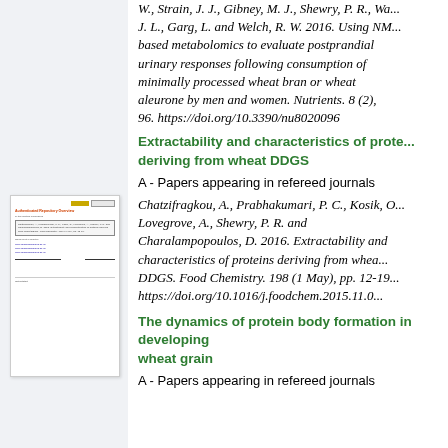W., Strain, J. J., Gibney, M. J., Shewry, P. R., Wa... J. L., Garg, L. and Welch, R. W. 2016. Using NM... based metabolomics to evaluate postprandial urinary responses following consumption of minimally processed wheat bran or wheat aleurone by men and women. Nutrients. 8 (2), 96. https://doi.org/10.3390/nu8020096
[Figure (screenshot): Thumbnail preview of a document page titled 'Extractability and characteristics of proteins deriving from wheat DDGS']
Extractability and characteristics of prote... deriving from wheat DDGS
A - Papers appearing in refereed journals
Chatzifragkou, A., Prabhakumari, P. C., Kosik, O... Lovegrove, A., Shewry, P. R. and Charalampopoulos, D. 2016. Extractability and characteristics of proteins deriving from wheat DDGS. Food Chemistry. 198 (1 May), pp. 12-19. https://doi.org/10.1016/j.foodchem.2015.11.0...
The dynamics of protein body formation in developing wheat grain
A - Papers appearing in refereed journals